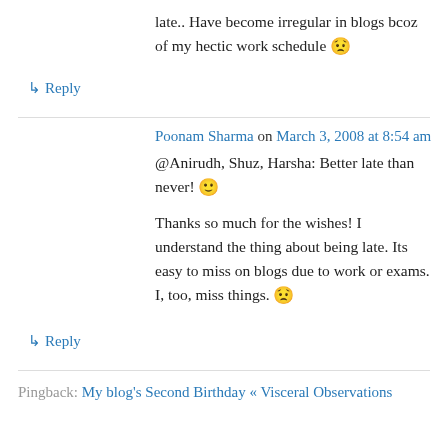late.. Have become irregular in blogs bcoz of my hectic work schedule 😟
↳ Reply
Poonam Sharma on March 3, 2008 at 8:54 am
@Anirudh, Shuz, Harsha: Better late than never! 🙂
Thanks so much for the wishes! I understand the thing about being late. Its easy to miss on blogs due to work or exams. I, too, miss things. 😟
↳ Reply
Pingback: My blog's Second Birthday « Visceral Observations